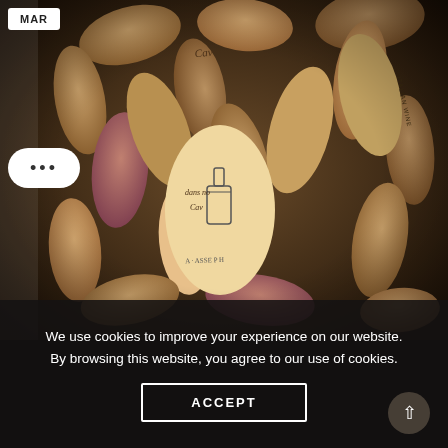[Figure (photo): Close-up photograph of many wine corks piled together, with various labels and markings visible including 'ITALIAN WINE' and other script text. Dark, warm toned image.]
MAR
•••
We use cookies to improve your experience on our website. By browsing this website, you agree to our use of cookies.
ACCEPT